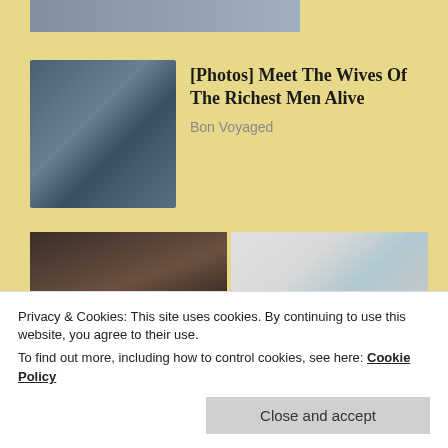[Figure (photo): Partial photo at top, cropped image of people]
[Figure (photo): Thumbnail photo of a man in suit and a young woman with sunglasses at a sporting event]
[Photos] Meet The Wives Of The Richest Men Alive
Bon Voyaged
[Figure (photo): Close-up portrait of a person with dark hair and glasses]
[Figure (photo): Close-up portrait of a person with silver/gray hair and glasses]
Privacy & Cookies: This site uses cookies. By continuing to use this website, you agree to their use.
To find out more, including how to control cookies, see here: Cookie Policy
Close and accept